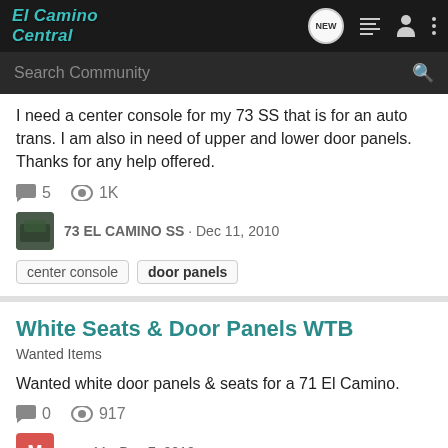El Camino Central
I need a center console for my 73 SS that is for an auto trans. I am also in need of upper and lower door panels. Thanks for any help offered.
5 comments · 1K views · 73 EL CAMINO SS · Dec 11, 2010
Tags: center console, door panels
White Seats & Door Panels WTB
Wanted Items
Wanted white door panels & seats for a 71 El Camino.
0 comments · 917 views · mr-z11 · Dec 7, 2010